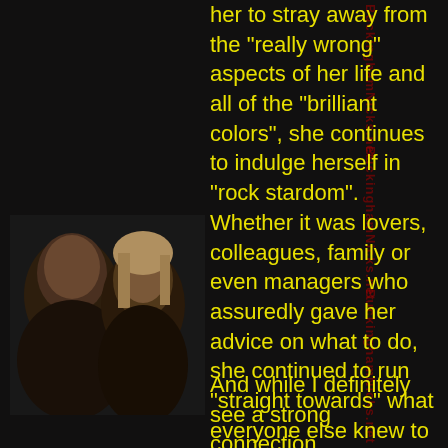her to stray away from the "really wrong" aspects of her life and all of the "brilliant colors", she continues to indulge herself in "rock stardom". Whether it was lovers, colleagues, family or even managers who assuredly gave her advice on what to do, she continued to run "straight towards" what everyone else knew to be wrong. In fact, "really wrong". Once more, she only does this because she has yet to understand her "garden".
[Figure (photo): Black and white photo of a man and woman (two people) against a dark background]
And while I definitely see a strong connection